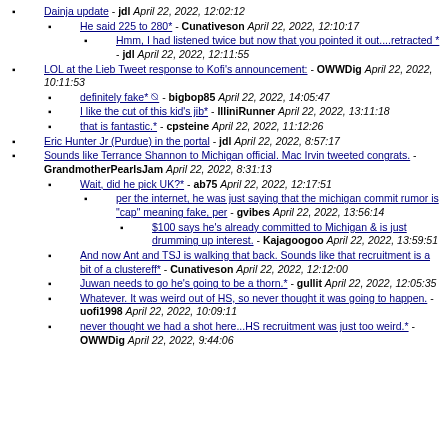Dainja update - jdl April 22, 2022, 12:02:12
He said 225 to 280* - Cunativeson April 22, 2022, 12:10:17
Hmm, I had listened twice but now that you pointed it out....retracted * - jdl April 22, 2022, 12:11:55
LOL at the Lieb Tweet response to Kofi's announcement: - OWWDig April 22, 2022, 10:11:53
definitely fake* - bigbop85 April 22, 2022, 14:05:47
I like the cut of this kid's jib* - IlliniRunner April 22, 2022, 13:11:18
that is fantastic.* - cpsteine April 22, 2022, 11:12:26
Eric Hunter Jr (Purdue) in the portal - jdl April 22, 2022, 8:57:17
Sounds like Terrance Shannon to Michigan official. Mac Irvin tweeted congrats. - GrandmotherPearlsJam April 22, 2022, 8:31:13
Wait, did he pick UK?* - ab75 April 22, 2022, 12:17:51
per the internet, he was just saying that the michigan commit rumor is "cap" meaning fake, per - gvibes April 22, 2022, 13:56:14
$100 says he's already committed to Michigan & is just drumming up interest. - Kajagoogoo April 22, 2022, 13:59:51
And now Ant and TSJ is walking that back. Sounds like that recruitment is a bit of a clustereff* - Cunativeson April 22, 2022, 12:12:00
Juwan needs to go he's going to be a thorn.* - gullit April 22, 2022, 12:05:35
Whatever. It was weird out of HS, so never thought it was going to happen. - uofi1998 April 22, 2022, 10:09:11
never thought we had a shot here...HS recruitment was just too weird.* - OWWDig April 22, 2022, 9:44:06